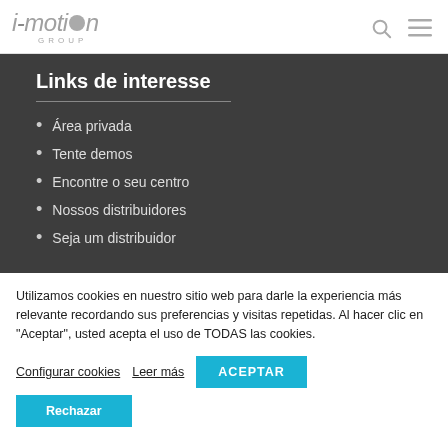i-motion GROUP
Links de interesse
Área privada
Tente demos
Encontre o seu centro
Nossos distribuidores
Seja um distribuidor
Utilizamos cookies en nuestro sitio web para darle la experiencia más relevante recordando sus preferencias y visitas repetidas. Al hacer clic en "Aceptar", usted acepta el uso de TODAS las cookies.
Configurar cookies   Leer más   ACEPTAR   Rechazar